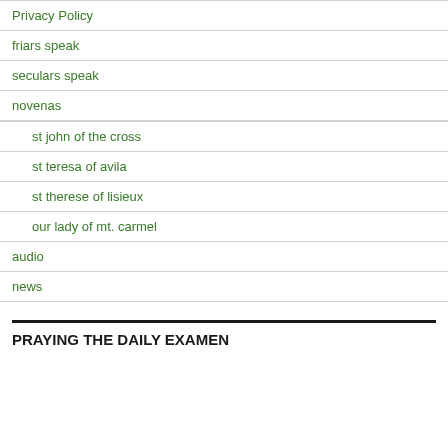Privacy Policy
friars speak
seculars speak
novenas
st john of the cross
st teresa of avila
st therese of lisieux
our lady of mt. carmel
audio
news
PRAYING THE DAILY EXAMEN